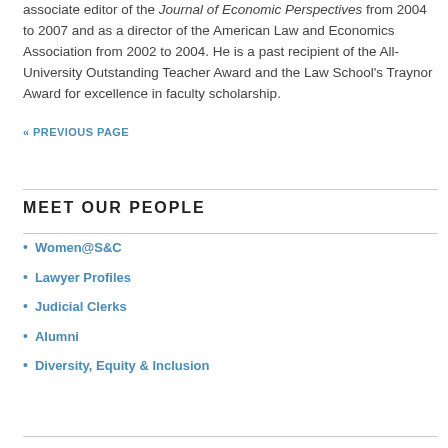associate editor of the Journal of Economic Perspectives from 2004 to 2007 and as a director of the American Law and Economics Association from 2002 to 2004. He is a past recipient of the All-University Outstanding Teacher Award and the Law School's Traynor Award for excellence in faculty scholarship.
« PREVIOUS PAGE
MEET OUR PEOPLE
Women@S&C
Lawyer Profiles
Judicial Clerks
Alumni
Diversity, Equity & Inclusion